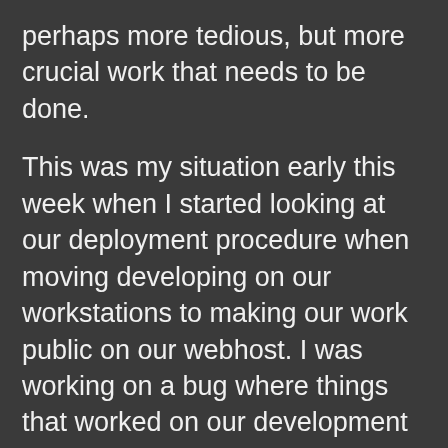perhaps more tedious, but more crucial work that needs to be done.
This was my situation early this week when I started looking at our deployment procedure when moving developing on our workstations to making our work public on our webhost. I was working on a bug where things that worked on our development machines weren't working on the webhost. Instead of just setting up a new instance for testing on our webhost, I decided to invest the time in exploring a new-to-me tool called Fabric.